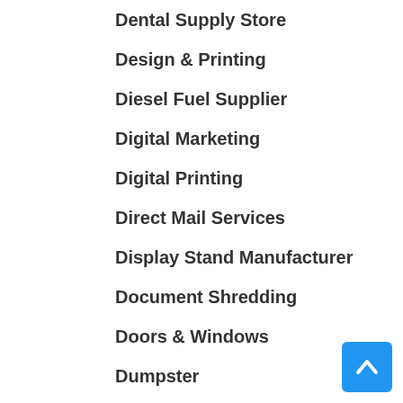Dental Supply Store
Design & Printing
Diesel Fuel Supplier
Digital Marketing
Digital Printing
Direct Mail Services
Display Stand Manufacturer
Document Shredding
Doors & Windows
Dumpster
Dumpster Services
E-liquid Manufacturer
Education
Electonics
Electrical
Electrical engineer
Electricians